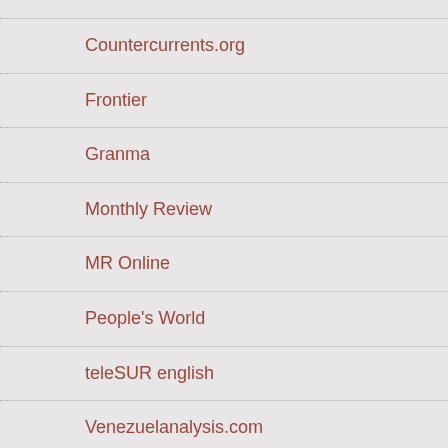Countercurrents.org
Frontier
Granma
Monthly Review
MR Online
People's World
teleSUR english
Venezuelanalysis.com